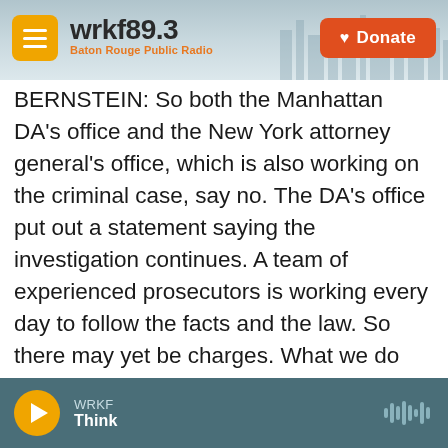wrkf89.3 Baton Rouge Public Radio | Donate
BERNSTEIN: So both the Manhattan DA's office and the New York attorney general's office, which is also working on the criminal case, say no. The DA's office put out a statement saying the investigation continues. A team of experienced prosecutors is working every day to follow the facts and the law. So there may yet be charges. What we do know was that a decision was made to pull back on an investigation that was very swiftly moving to an indictment as early as this spring. And former prosecutors tell me it's not so easy to just start something up like that again.
WRKF | Think